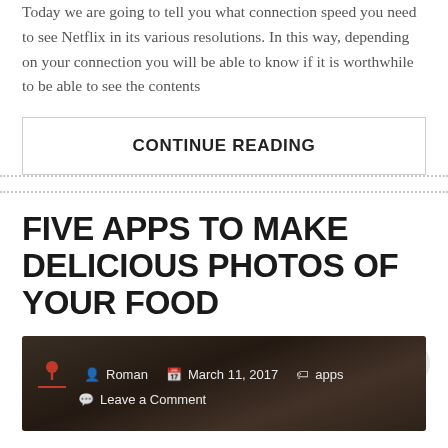Today we are going to tell you what connection speed you need to see Netflix in its various resolutions. In this way, depending on your connection you will be able to know if it is worthwhile to be able to see the contents
CONTINUE READING
FIVE APPS TO MAKE DELICIOUS PHOTOS OF YOUR FOOD
Roman  March 11, 2017  apps  Leave a Comment